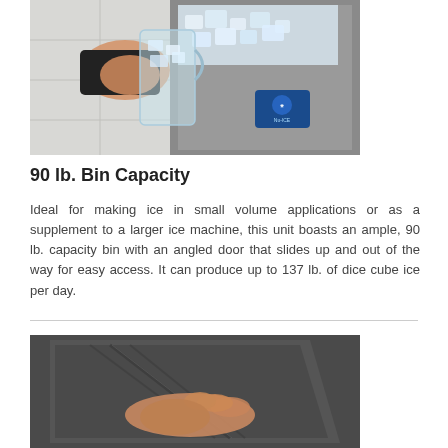[Figure (photo): A person filling a clear glass pitcher with ice from a stainless steel commercial ice machine. The machine has a blue branded logo badge on the front.]
90 lb. Bin Capacity
Ideal for making ice in small volume applications or as a supplement to a larger ice machine, this unit boasts an ample, 90 lb. capacity bin with an angled door that slides up and out of the way for easy access. It can produce up to 137 lb. of dice cube ice per day.
[Figure (photo): A close-up of a hand touching or opening the angled door of a dark-colored commercial ice machine, showing the textured surface and angled design.]